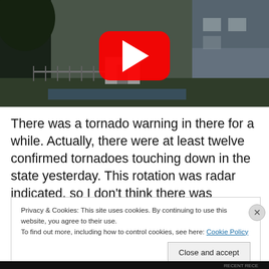[Figure (screenshot): YouTube video thumbnail showing a rural scene with trees, a house, a shed, and what appears to be stormy weather. A red YouTube play button is overlaid in the center.]
There was a tornado warning in there for a while. Actually, there were at least twelve confirmed tornadoes touching down in the state yesterday. This rotation was radar indicated, so I don't think there was anything that touched
Privacy & Cookies: This site uses cookies. By continuing to use this website, you agree to their use.
To find out more, including how to control cookies, see here: Cookie Policy
Close and accept